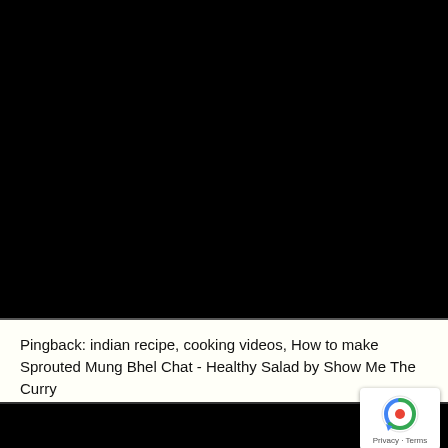[Figure (screenshot): Black video player area occupying the top portion of the page]
Pingback: indian recipe, cooking videos, How to make Sprouted Mung Bhel Chat - Healthy Salad by Show Me The Curry
[Figure (logo): Google reCAPTCHA badge with circular arrow icon and Privacy - Terms links]